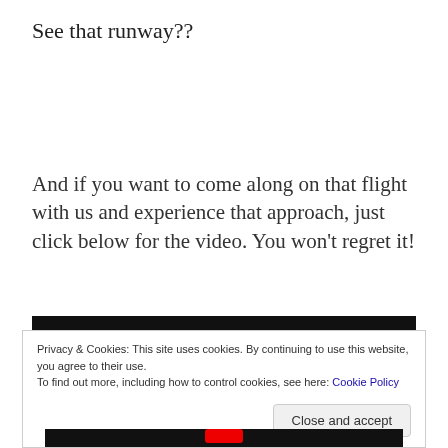See that runway??
And if you want to come along on that flight with us and experience that approach, just click below for the video. You won't regret it!
[Figure (screenshot): Black video player bar at top]
Privacy & Cookies: This site uses cookies. By continuing to use this website, you agree to their use.
To find out more, including how to control cookies, see here: Cookie Policy
Close and accept